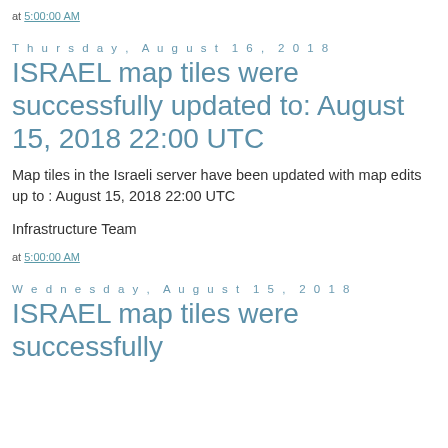at 5:00:00 AM
Thursday, August 16, 2018
ISRAEL map tiles were successfully updated to: August 15, 2018 22:00 UTC
Map tiles in the Israeli server have been updated with map edits up to : August 15, 2018 22:00 UTC
Infrastructure Team
at 5:00:00 AM
Wednesday, August 15, 2018
ISRAEL map tiles were successfully